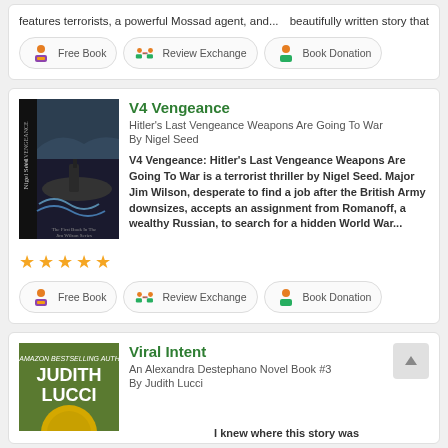beautifully written story that features terrorists, a powerful Mossad agent, and...
[Figure (infographic): Three action buttons: Free Book, Review Exchange, Book Donation with person icons]
V4 Vengeance
Hitler's Last Vengeance Weapons Are Going To War
By Nigel Seed
[Figure (photo): Book cover for V4 Vengeance by Nigel Seed showing a submarine]
V4 Vengeance: Hitler's Last Vengeance Weapons Are Going To War is a terrorist thriller by Nigel Seed. Major Jim Wilson, desperate to find a job after the British Army downsizes, accepts an assignment from Romanoff, a wealthy Russian, to search for a hidden World War...
[Figure (infographic): Five green stars rating]
[Figure (infographic): Three action buttons: Free Book, Review Exchange, Book Donation]
Viral Intent
An Alexandra Destephano Novel Book #3
By Judith Lucci
[Figure (photo): Book cover for Viral Intent by Judith Lucci]
I knew where this story was